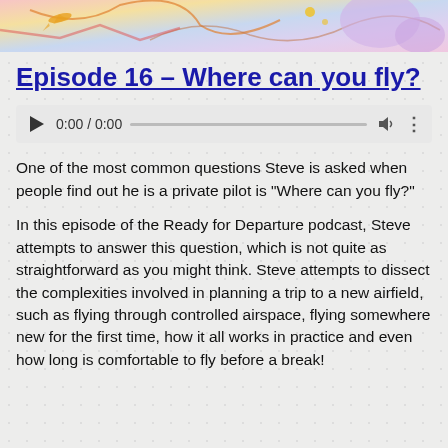[Figure (illustration): Colorful banner image at the top of the page with abstract aviation-themed illustrated elements including maps and aerial motifs in pastel colors]
Episode 16 – Where can you fly?
[Figure (other): Audio player widget showing play button, timestamp 0:00 / 0:00, progress bar, volume icon, and more options icon]
One of the most common questions Steve is asked when people find out he is a private pilot is "Where can you fly?"
In this episode of the Ready for Departure podcast, Steve attempts to answer this question, which is not quite as straightforward as you might think. Steve attempts to dissect the complexities involved in planning a trip to a new airfield, such as flying through controlled airspace, flying somewhere new for the first time, how it all works in practice and even how long is comfortable to fly before a break!